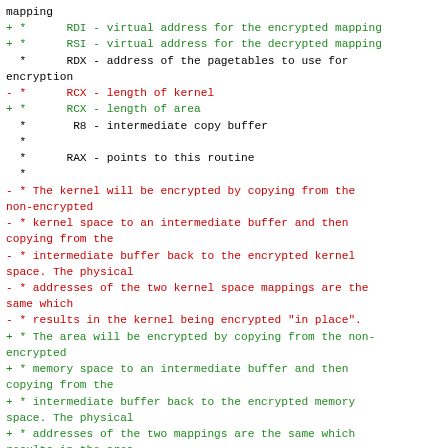mapping
+ *      RDI - virtual address for the encrypted mapping
+ *      RSI - virtual address for the decrypted mapping
  *      RDX - address of the pagetables to use for encryption
- *      RCX - length of kernel
+ *      RCX - length of area
  *       R8 - intermediate copy buffer
  *
  *      RAX - points to this routine
  *
- * The kernel will be encrypted by copying from the non-encrypted
- * kernel space to an intermediate buffer and then copying from the
- * intermediate buffer back to the encrypted kernel space. The physical
- * addresses of the two kernel space mappings are the same which
- * results in the kernel being encrypted "in place".
+ * The area will be encrypted by copying from the non-encrypted
+ * memory space to an intermediate buffer and then copying from the
+ * intermediate buffer back to the encrypted memory space. The physical
+ * addresses of the two mappings are the same which results in the area
+ * being encrypted "in place".
  */